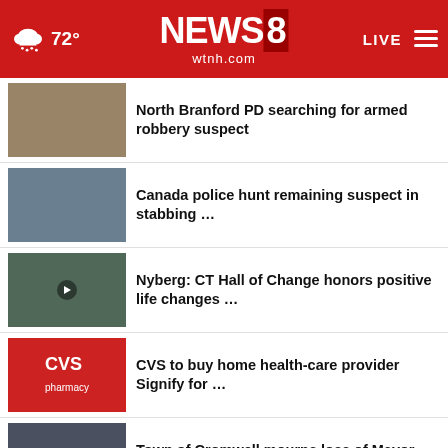NEWS 8 wtnh.com — 72° LIVE
North Branford PD searching for armed robbery suspect
Canada police hunt remaining suspect in stabbing …
Nyberg: CT Hall of Change honors positive life changes …
CVS to buy home health-care provider Signify for …
Town of Cromwell mourns loss of Mayor Allan Spotts
Route 138 re-opens in Lisbon: DOT